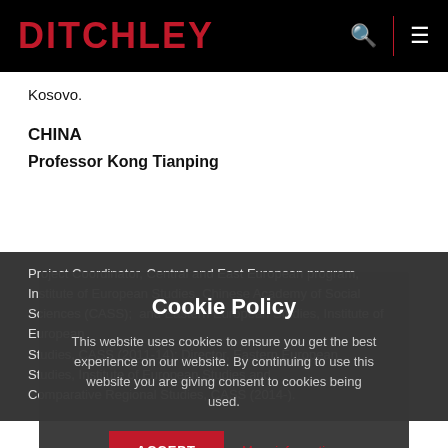DITCHLEY
Kosovo.
CHINA
Professor Kong Tianping
Project Coordinator, Central and East European program, Institute of European Studies, Chinese Academy of Social Sciences (CASS); and Eastern European Studies, Institute of European Studies, CASS (2011-14); Director, Eastern European Studies, Institute of European Studies and Comparative Regional Studies, CASS (2014-).
Cookie Policy
This website uses cookies to ensure you get the best experience on our website. By continuing to use this website you are giving consent to cookies being used.
ACCEPT   More information